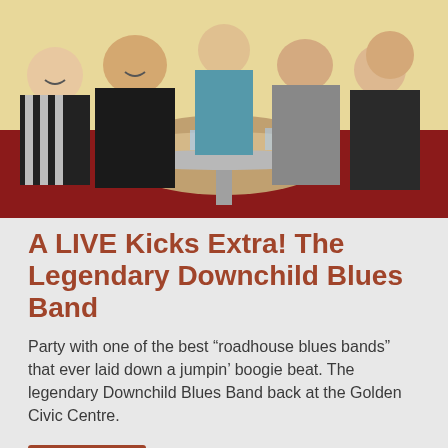[Figure (photo): Group of six men sitting around a diner-style table with red booths, laughing and posing for a photo. The table has glasses and condiments on it.]
A LIVE Kicks Extra! The Legendary Downchild Blues Band
Party with one of the best “roadhouse blues bands” that ever laid down a jumpin’ boogie beat. The legendary Downchild Blues Band back at the Golden Civic Centre.
Read more
[Figure (photo): Bottom strip of a dark/black photo partially visible, with a rust-colored upward arrow chevron in the bottom right corner.]